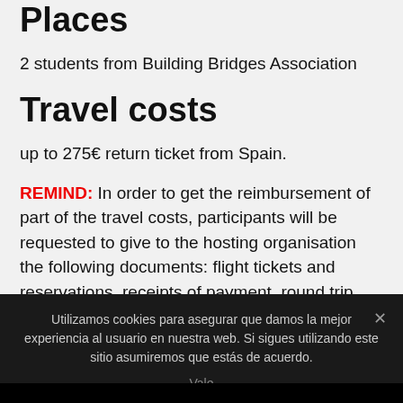Places
2 students from Building Bridges Association
Travel costs
up to 275€ return ticket from Spain.
REMIND: In order to get the reimbursement of part of the travel costs, participants will be requested to give to the hosting organisation the following documents: flight tickets and reservations, receipts of payment, round trip boarding passes, and other tickets/proofs
Utilizamos cookies para asegurar que damos la mejor experiencia al usuario en nuestra web. Si sigues utilizando este sitio asumiremos que estás de acuerdo.
Vale